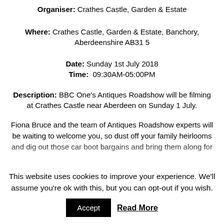Organiser: Crathes Castle, Garden & Estate
Where: Crathes Castle, Garden & Estate, Banchory, Aberdeenshire AB31 5
Date: Sunday 1st July 2018
Time: 09:30AM-05:00PM
Description: BBC One's Antiques Roadshow will be filming at Crathes Castle near Aberdeen on Sunday 1 July.
Fiona Bruce and the team of Antiques Roadshow experts will be waiting to welcome you, so dust off your family heirlooms and dig out those car boot bargains and bring them along for
This website uses cookies to improve your experience. We'll assume you're ok with this, but you can opt-out if you wish.